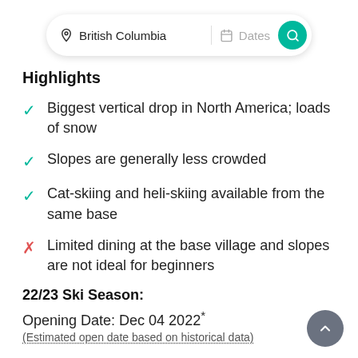[Figure (screenshot): Search bar with location 'British Columbia', dates field, and green search button]
Highlights
Biggest vertical drop in North America; loads of snow
Slopes are generally less crowded
Cat-skiing and heli-skiing available from the same base
Limited dining at the base village and slopes are not ideal for beginners
22/23 Ski Season:
Opening Date: Dec 04 2022*
(Estimated open date based on historical data)